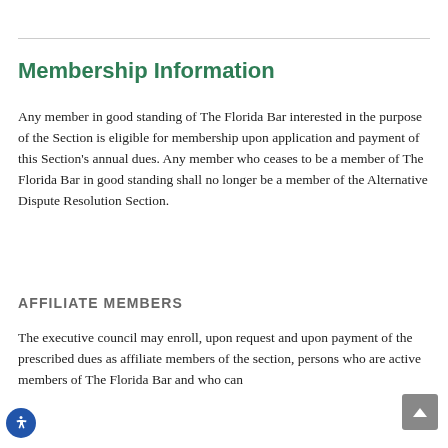Membership Information
Any member in good standing of The Florida Bar interested in the purpose of the Section is eligible for membership upon application and payment of this Section's annual dues. Any member who ceases to be a member of The Florida Bar in good standing shall no longer be a member of the Alternative Dispute Resolution Section.
AFFILIATE MEMBERS
The executive council may enroll, upon request and upon payment of the prescribed dues as affiliate members of the section, persons who are active members of The Florida Bar and who can